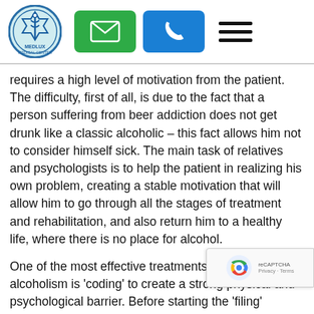[Figure (logo): Medlux Medical Center circular logo with caduceus symbol]
[Figure (other): Navigation header with green email button, blue phone button, and hamburger menu icon]
requires a high level of motivation from the patient. The difficulty, first of all, is due to the fact that a person suffering from beer addiction does not get drunk like a classic alcoholic – this fact allows him not to consider himself sick. The main task of relatives and psychologists is to help the patient in realizing his own problem, creating a stable motivation that will allow him to go through all the stages of treatment and rehabilitation, and also return him to a healthy life, where there is no place for alcohol.
One of the most effective treatments for beer alcoholism is 'coding' to create a strong physical and psychological barrier. Before starting the 'filing' ('coding') procedure, a complete detoxification of the body is carried out – the residues of alcohol, as well as toxic products of its decay, are eliminated. Before starting the procedure, the patient should refrain from